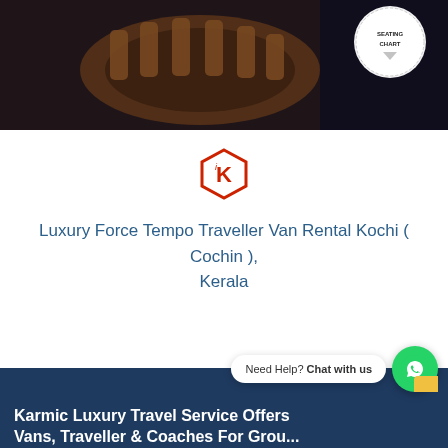[Figure (photo): Top banner image showing wooden circular seating interior of a luxury tempo traveller van, with a circular badge overlay on the right side reading 'SEATING CHART']
[Figure (logo): Hexagonal red logo with letter K inside, Karmic Luxury Travel brand logo]
Luxury Force Tempo Traveller Van Rental Kochi ( Cochin ), Kerala
[Figure (screenshot): Dark blue section background (bottom footer area of page) with overlaid WhatsApp chat widget showing 'Need Help? Chat with us' and green WhatsApp icon button]
Karmic Luxury Travel Service Offers Vans, Traveller & Coaches For Grou...